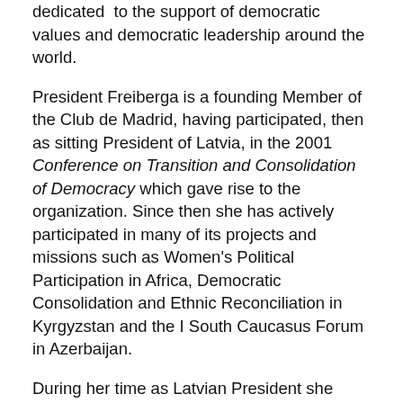dedicated to the support of democratic values and democratic leadership around the world.
President Freiberga is a founding Member of the Club de Madrid, having participated, then as sitting President of Latvia, in the 2001 Conference on Transition and Consolidation of Democracy which gave rise to the organization. Since then she has actively participated in many of its projects and missions such as Women's Political Participation in Africa, Democratic Consolidation and Ethnic Reconciliation in Kyrgyzstan and the I South Caucasus Forum in Azerbaijan.
During her time as Latvian President she fostered Latvia's NATO membership as well as its accession to the European Union, which the country joined under her leadership in 2004. A profound believer in citizen's engagement in public affairs and political processes, she initiated a discussion to introduce compulsory voting in general elections. In April 2005, then United Nations Secretary-General, Kofi Annan, named Vaira Vike-Freiberga as a member of his team of global political leaders dedicated to preparing a bold and ambitious reform